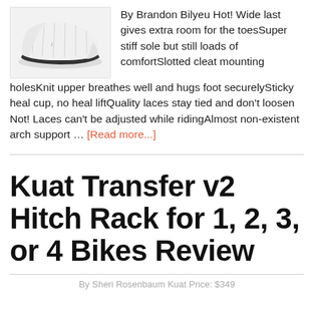[Figure (photo): White athletic/cycling shoe photographed on white background, seen from the side]
By Brandon Bilyeu Hot! Wide last gives extra room for the toesSuper stiff sole but still loads of comfortSlotted cleat mounting holesKnit upper breathes well and hugs foot securelySticky heal cup, no heal liftQuality laces stay tied and don't loosen Not! Laces can't be adjusted while ridingAlmost non-existent arch support … [Read more...]
Kuat Transfer v2 Hitch Rack for 1, 2, 3, or 4 Bikes Review
By Sheri Rosenbaum Kuat Price: $349